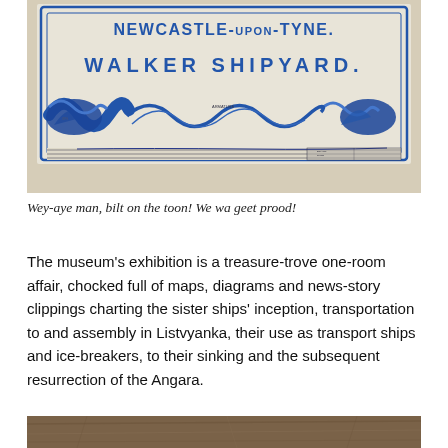[Figure (photo): Photograph of a blueprint/technical drawing for Walker Shipyard, Newcastle-upon-Tyne, showing ship design schematics with decorative wave border elements in blue ink on white paper.]
Wey-aye man, bilt on the toon! We wa geet prood!
The museum’s exhibition is a treasure-trove one-room affair, chocked full of maps, diagrams and news-story clippings charting the sister ships’ inception, transportation to and assembly in Listvyanka, their use as transport ships and ice-breakers, to their sinking and the subsequent resurrection of the Angara.
[Figure (photo): Partial photograph visible at bottom of page, showing what appears to be a wooden or textured surface, cropped.]